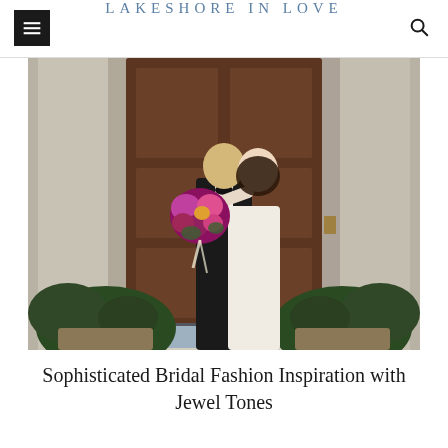LAKESHORE IN LOVE
[Figure (photo): A couple posing in front of a large ornate wooden door with stone architecture. The groom has blonde hair and wears a black tuxedo with bow tie. The bride wears a white dress and holds a colorful jewel-toned bouquet. Large potted fern plants flank either side. The bride appears to be adjusting the groom's bow tie as they look at each other.]
Sophisticated Bridal Fashion Inspiration with Jewel Tones